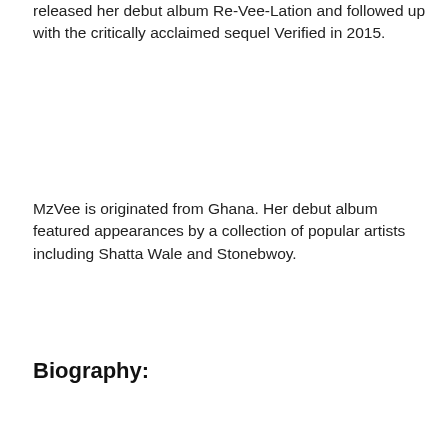released her debut album Re-Vee-Lation and followed up with the critically acclaimed sequel Verified in 2015.
MzVee is originated from Ghana. Her debut album featured appearances by a collection of popular artists including Shatta Wale and Stonebwoy.
Biography: